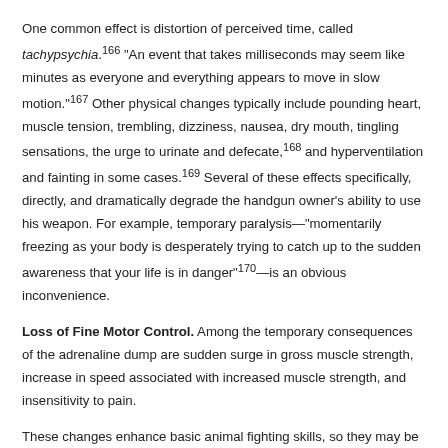One common effect is distortion of perceived time, called tachypsychia.166 "An event that takes milliseconds may seem like minutes as everyone and everything appears to move in slow motion."167 Other physical changes typically include pounding heart, muscle tension, trembling, dizziness, nausea, dry mouth, tingling sensations, the urge to urinate and defecate,168 and hyperventilation and fainting in some cases.169 Several of these effects specifically, directly, and dramatically degrade the handgun owner's ability to use his weapon. For example, temporary paralysis—"momentarily freezing as your body is desperately trying to catch up to the sudden awareness that your life is in danger"170—is an obvious inconvenience.
Loss of Fine Motor Control. Among the temporary consequences of the adrenaline dump are sudden surge in gross muscle strength, increase in speed associated with increased muscle strength, and insensitivity to pain.
These changes enhance basic animal fighting skills, so they may be